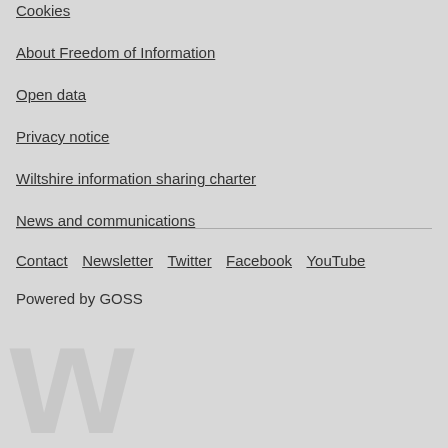Cookies
About Freedom of Information
Open data
Privacy notice
Wiltshire information sharing charter
News and communications
Contact  Newsletter  Twitter  Facebook  YouTube
Powered by GOSS